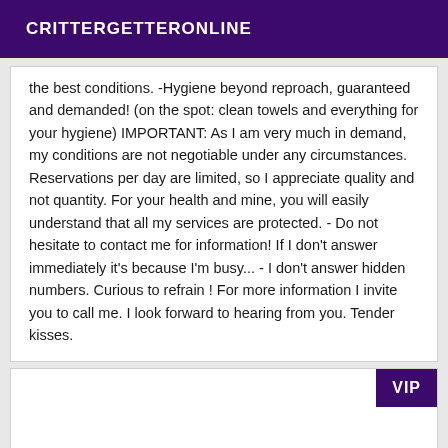CRITTERGETTERONLINE
the best conditions. -Hygiene beyond reproach, guaranteed and demanded! (on the spot: clean towels and everything for your hygiene) IMPORTANT: As I am very much in demand, my conditions are not negotiable under any circumstances. Reservations per day are limited, so I appreciate quality and not quantity. For your health and mine, you will easily understand that all my services are protected. - Do not hesitate to contact me for information! If I don't answer immediately it's because I'm busy... - I don't answer hidden numbers. Curious to refrain ! For more information I invite you to call me. I look forward to hearing from you. Tender kisses.
VIP